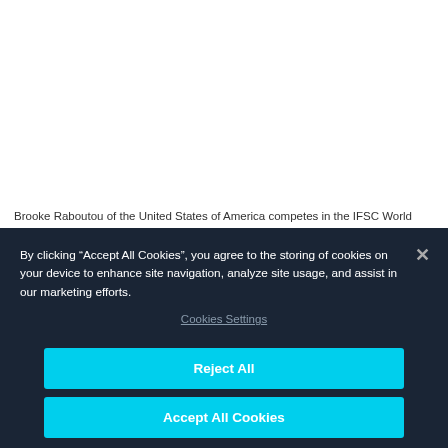[Figure (photo): Photo of Brooke Raboutou competing at the IFSC World Cup in Salt Lake (partially visible, white background)]
Brooke Raboutou of the United States of America competes in the IFSC World Cup in Salt Lake
By clicking “Accept All Cookies”, you agree to the storing of cookies on your device to enhance site navigation, analyze site usage, and assist in our marketing efforts.
Cookies Settings
Reject All
Accept All Cookies